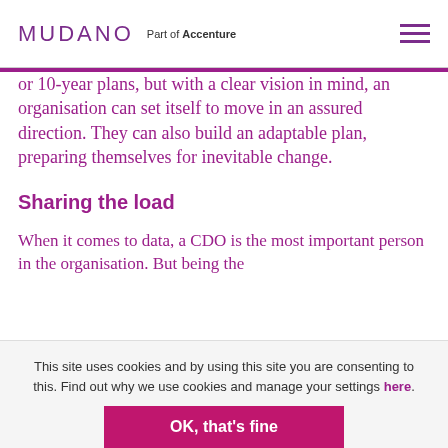MUDANO Part of Accenture
or 10-year plans, but with a clear vision in mind, an organisation can set itself to move in an assured direction. They can also build an adaptable plan, preparing themselves for inevitable change.
Sharing the load
When it comes to data, a CDO is the most important person in the organisation. But being the
This site uses cookies and by using this site you are consenting to this. Find out why we use cookies and manage your settings here.
OK, that's fine